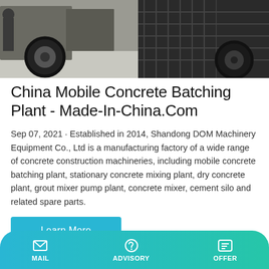[Figure (photo): Photo of a mobile concrete batching plant showing heavy machinery with large wheels and dark steel framework against a concrete floor background]
China Mobile Concrete Batching Plant - Made-In-China.Com
Sep 07, 2021 · Established in 2014, Shandong DOM Machinery Equipment Co., Ltd is a manufacturing factory of a wide range of concrete construction machineries, including mobile concrete batching plant, stationary concrete mixing plant, dry concrete plant, grout mixer pump plant, concrete mixer, cement silo and related spare parts.
Learn More
[Figure (screenshot): Dark section of a mobile website footer]
MAIL   ADVISORY   OFFER